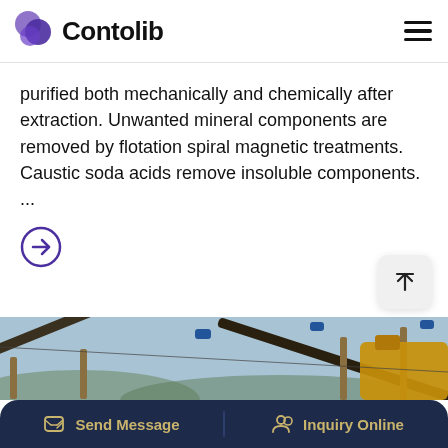Contolib
purified both mechanically and chemically after extraction. Unwanted mineral components are removed by flotation spiral magnetic treatments. Caustic soda acids remove insoluble components. ...
[Figure (photo): Industrial mining conveyor belt machinery at a quarry or mineral processing site, with large yellow equipment and conveyor belts crossing diagonally against a pale sky with mountains in the background.]
Send Message | Inquiry Online